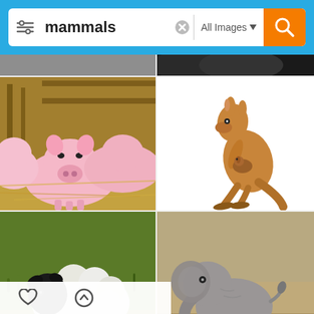[Figure (screenshot): Mobile image search interface showing search bar with 'mammals' query and 'All Images' filter dropdown, with orange search button. Below are search result images in a 2-column grid: top partial images (gray strips), pigs in a barn, a kangaroo with joey, a black-faced sheep, a baby elephant running, and partial bottom row with more animals.]
mammals
All Images